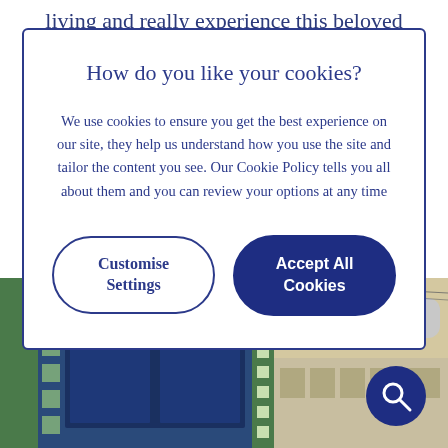living and really experience this beloved
How do you like your cookies?
We use cookies to ensure you get the best experience on our site, they help us understand how you use the site and tailor the content you see. Our Cookie Policy tells you all about them and you can review your options at any time
Customise Settings
Accept All Cookies
[Figure (photo): Architectural facade of a historic building with text 'DE SANTANDER A BILBAO' and ornate decorative elements, blue and green tiled columns, and classical stonework]